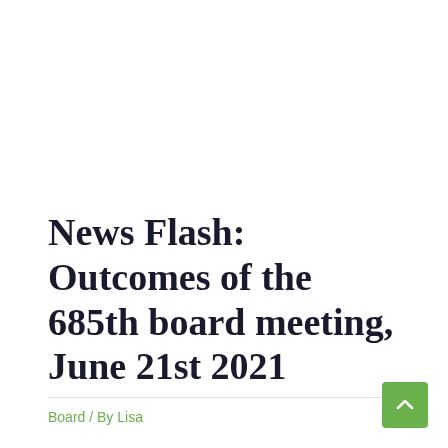News Flash: Outcomes of the 685th board meeting, June 21st 2021
Board / By Lisa
New recruitments of kindergarten teachers approved
Recruitment of special education teacher approved
Recruitment of Mrs. Behlert as Daf-teacher in elementary school decided (change from kindergarten to elementary…